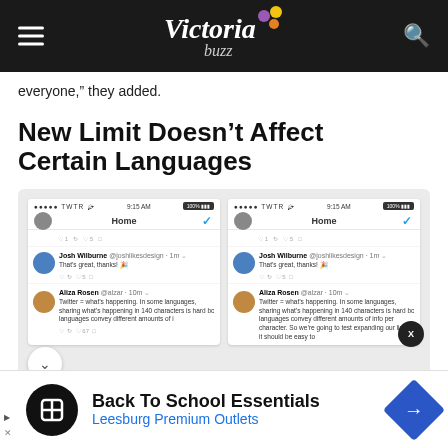Victoria Buzz
everyone,” they added.
New Limit Doesn’t Affect Certain Languages
[Figure (screenshot): Two side-by-side Twitter/X mobile app screenshots showing tweets from Josh Wilburne and Aliza Rosen about the 140 character limit change.]
[Figure (infographic): Advertisement banner: Back To School Essentials - Leesburg Premium Outlets, with logo and navigation icon.]